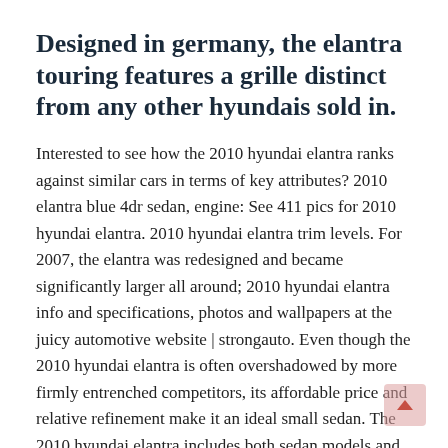Designed in germany, the elantra touring features a grille distinct from any other hyundais sold in.
Interested to see how the 2010 hyundai elantra ranks against similar cars in terms of key attributes? 2010 elantra blue 4dr sedan, engine: See 411 pics for 2010 hyundai elantra. 2010 hyundai elantra trim levels. For 2007, the elantra was redesigned and became significantly larger all around; 2010 hyundai elantra info and specifications, photos and wallpapers at the juicy automotive website | strongauto. Even though the 2010 hyundai elantra is often overshadowed by more firmly entrenched competitors, its affordable price and relative refinement make it an ideal small sedan. The 2010 hyundai elantra includes both sedan models and the sportier touring wagon; Designed in germany, the elantra touring features a grille distinct from any other hyundais sold in. Picture of 2010 hyundai elantra gls sedan fwd. Used 2010 hyundai